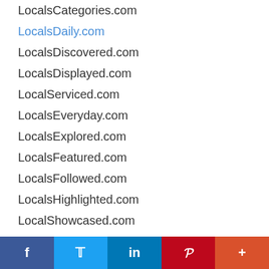LocalsCategories.com
LocalsDaily.com
LocalsDiscovered.com
LocalsDisplayed.com
LocalServiced.com
LocalsEveryday.com
LocalsExplored.com
LocalsFeatured.com
LocalsFollowed.com
LocalsHighlighted.com
LocalShowcased.com
LocalsHQ.com
LocalsInformation.com
LocalsInformed.com
LocalsLiked.com
LocalsLinked.com
LocalsListed.com